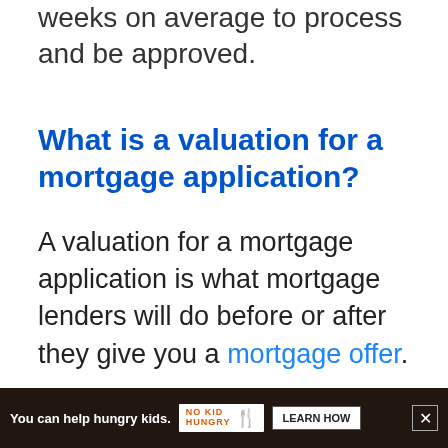weeks on average to process and be approved.
What is a valuation for a mortgage application?
A valuation for a mortgage application is what mortgage lenders will do before or after they give you a mortgage offer.
some mortgage lenders will carry out a ba... they give
[Figure (other): Advertisement banner: orange background, text 'You can help hungry kids.' with No Kid Hungry logo and 'LEARN HOW' button, close X button]